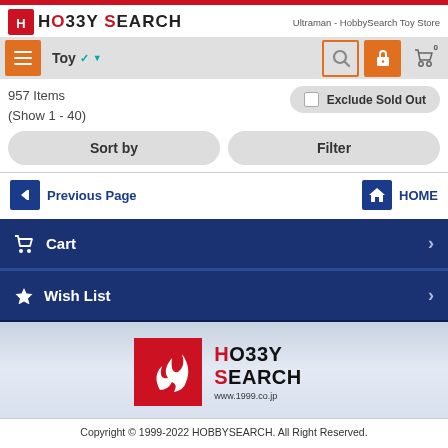HO33Y SEARCH — Ultraman - HobbySearch Toy Store
957 Items (Show 1 - 40)
Exclude Sold Out
Sort by
Filter
Previous Page
HOME
Cart
Wish List
[Figure (logo): HobbySearch logo with flame icon and text HO33Y SEARCH www.1999.co.jp]
Copyright © 1999-2022 HOBBYSEARCH. All Right Reserved.